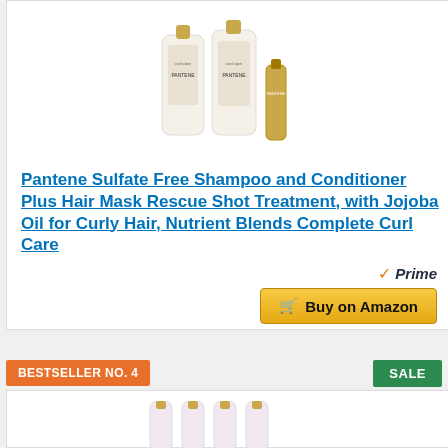[Figure (photo): Pantene curl care product set: shampoo, conditioner, and hair mask rescue shot treatment bottles with white and gold design]
Pantene Sulfate Free Shampoo and Conditioner Plus Hair Mask Rescue Shot Treatment, with Jojoba Oil for Curly Hair, Nutrient Blends Complete Curl Care
Prime badge and Buy on Amazon button
BESTSELLER NO. 4
SALE
[Figure (photo): Second product set with pink and gold bottles, partially visible]